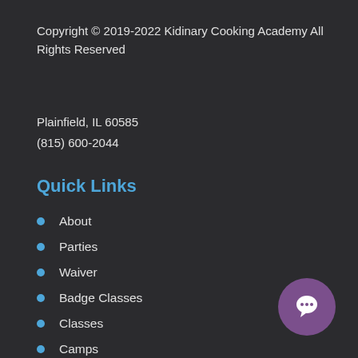Copyright © 2019-2022 Kidinary Cooking Academy All Rights Reserved
Plainfield, IL 60585
(815) 600-2044
Quick Links
About
Parties
Waiver
Badge Classes
Classes
Camps